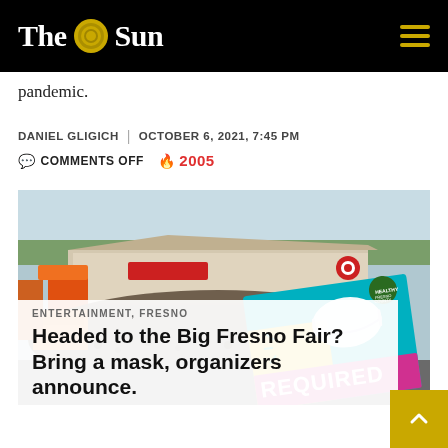The Sun
pandemic.
DANIEL GLIGICH | OCTOBER 6, 2021, 7:45 PM
COMMENTS OFF  2005
[Figure (photo): Aerial view of a large crowded fairground with rides and buildings, overlaid with a mask-required promotional card for Healthy Fresno County]
ENTERTAINMENT, FRESNO
Headed to the Big Fresno Fair? Bring a mask, organizers announce.